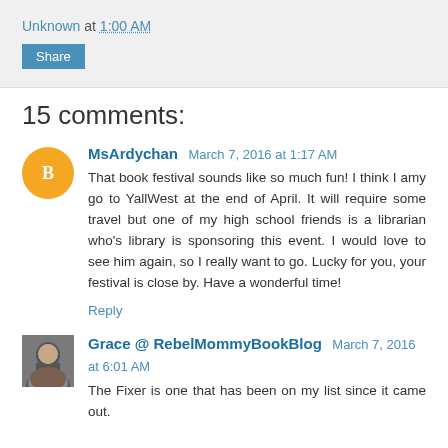Unknown at 1:00 AM
Share
15 comments:
MsArdychan March 7, 2016 at 1:17 AM
That book festival sounds like so much fun! I think I amy go to YallWest at the end of April. It will require some travel but one of my high school friends is a librarian who's library is sponsoring this event. I would love to see him again, so I really want to go. Lucky for you, your festival is close by. Have a wonderful time!
Reply
Grace @ RebelMommyBookBlog March 7, 2016 at 6:01 AM
The Fixer is one that has been on my list since it came out.